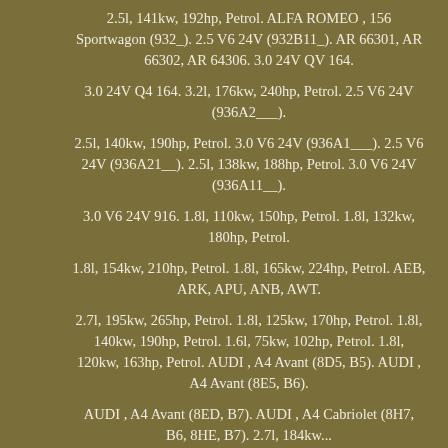2.5l, 141kw, 192hp, Petrol. ALFA ROMEO , 156 Sportwagon (932_). 2.5 V6 24V (932B11_). AR 66301, AR 66302, AR 64306. 3.0 24V QV 164.
3.0 24V Q4 164. 3.2l, 176kw, 240hp, Petrol. 2.5 V6 24V (936A2___).
2.5l, 140kw, 190hp, Petrol. 3.0 V6 24V (936A1___). 2.5 V6 24V (936A21__). 2.5l, 138kw, 188hp, Petrol. 3.0 V6 24V (936A11__).
3.0 V6 24V 916. 1.8l, 110kw, 150hp, Petrol. 1.8l, 132kw, 180hp, Petrol.
1.8l, 154kw, 210hp, Petrol. 1.8l, 165kw, 224hp, Petrol. AEB, ARK, APU, ANB, AWT.
2.7l, 195kw, 265hp, Petrol. 1.8l, 125kw, 170hp, Petrol. 1.8l, 140kw, 190hp, Petrol. 1.6l, 75kw, 102hp, Petrol. 1.8l, 120kw, 163hp, Petrol. AUDI , A4 Avant (8D5, B5). AUDI , A4 Avant (8E5, B6).
AUDI , A4 Avant (8ED, B7). AUDI , A4 Cabriolet (8H7, B6, 8HE, B7). 2.7l, 184kw...